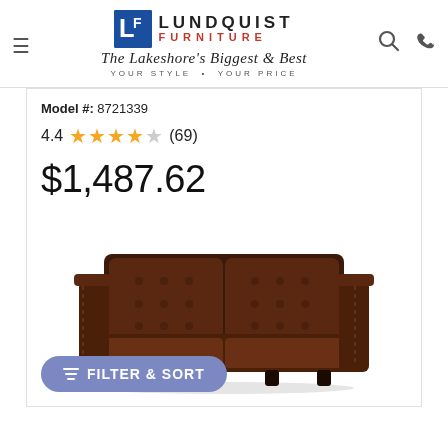[Figure (logo): Lundquist Furniture logo with LF icon, brand name LUNDQUIST FURNITURE in text, script tagline 'The Lakeshore's Biggest & Best', and 'YOUR STYLE • YOUR PRICE']
Model #: 8721339
4.4 ★★★★½ (69)
$1,487.62
[Figure (photo): Dark brown tufted leather sofa with square arms and button-tufted back cushions on dark wood legs, photographed on white background]